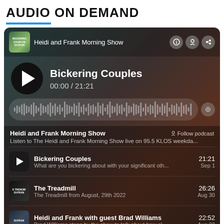AUDIO ON DEMAND
[Figure (screenshot): Audio player widget for Heidi and Frank Morning Show showing episode 'Bickering Couples' at 00:00/21:21 with waveform scrubber, podcast info, and episode list including The Treadmill (26:26, Aug 30) and Heidi and Frank with guest Brad Williams (22:52, Aug 23)]
Heidi and Frank Morning Show
Bickering Couples
00:00 / 21:21
Heidi and Frank Morning Show
Listen to The Heidi and Frank Morning Show live on 95.5 KLOS weekda...
Bickering Couples — 21:21 — Sep 1
What are you bickering about with your significant oth...
The Treadmill — 26:26 — Aug 30
The Treadmill from August, 29th 2022
Heidi and Frank with guest Brad Williams — 22:52 — Aug 23
Brad Williams stops by the show to talk about how al...